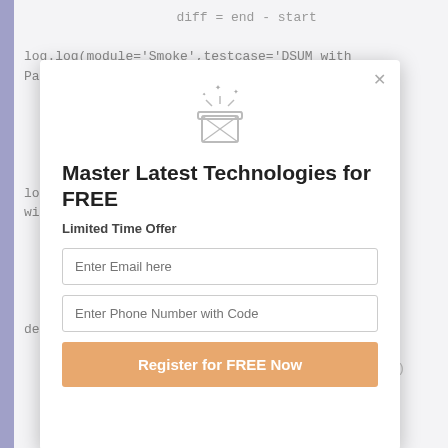diff = end - start

log.log(module='Smoke',testcase='DSUM with Parent', result='Pass',time_taken= diff)
    break
    except: pass
    else:
        end = time.clock()
        diff = end -
log.log(module='Smoke',testcase='DSUM with Parent', result='Fail',time_taken= diff)
    except StopIteration:
        e = sys.exc_info()[1]
def tearDown(self):
    self.driver.quit()
    self.assertEqual([], self.verificationErrors)
[Figure (infographic): Modal popup overlay with magic hat icon, title 'Master Latest Technologies for FREE', subtitle 'Limited Time Offer', email input field, phone number input field, and orange 'Register for FREE Now' button with close X button in top right corner]